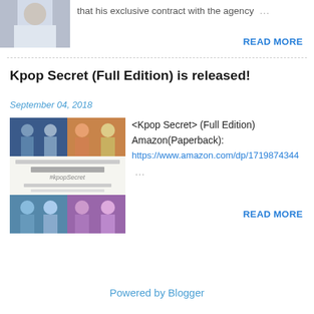[Figure (photo): Partial image of a person in light-colored clothing, top-left corner]
that his exclusive contract with the agency …
READ MORE
Kpop Secret (Full Edition) is released!
September 04, 2018
[Figure (photo): Book cover collage for Kpop Secret Full Edition showing multiple K-pop idol photos and the book title #kpopSecret]
<Kpop Secret> (Full Edition) Amazon(Paperback): https://www.amazon.com/dp/1719874344 …
READ MORE
Powered by Blogger